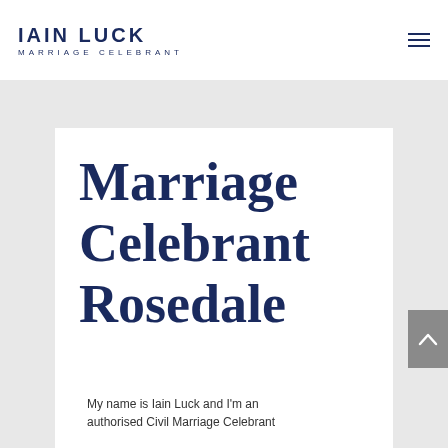IAIN LUCK MARRIAGE CELEBRANT
Marriage Celebrant Rosedale
My name is Iain Luck and I'm an authorised Civil Marriage Celebrant